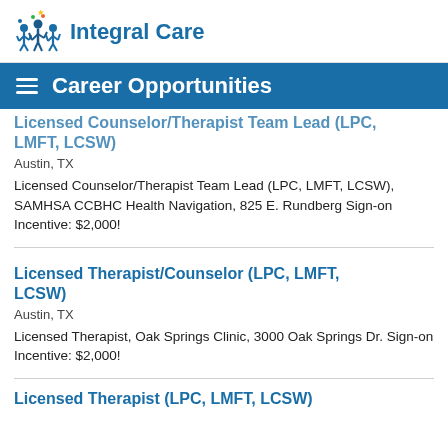[Figure (logo): Integral Care logo with stylized people figures and star, blue text]
Career Opportunities
Licensed Counselor/Therapist Team Lead (LPC, LMFT, LCSW)
Austin, TX
Licensed Counselor/Therapist Team Lead (LPC, LMFT, LCSW), SAMHSA CCBHC Health Navigation, 825 E. Rundberg Sign-on Incentive: $2,000!
Licensed Therapist/Counselor (LPC, LMFT, LCSW)
Austin, TX
Licensed Therapist, Oak Springs Clinic, 3000 Oak Springs Dr. Sign-on Incentive: $2,000!
Licensed Therapist (LPC, LMFT, LCSW)